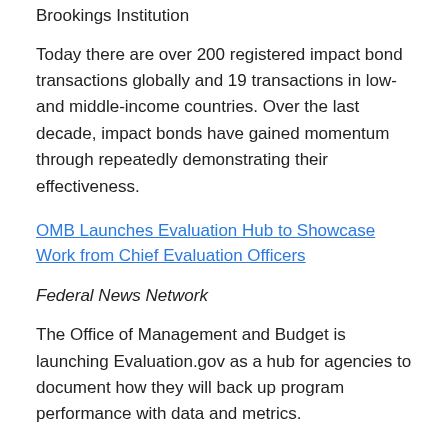Brookings Institution
Today there are over 200 registered impact bond transactions globally and 19 transactions in low- and middle-income countries. Over the last decade, impact bonds have gained momentum through repeatedly demonstrating their effectiveness.
OMB Launches Evaluation Hub to Showcase Work from Chief Evaluation Officers
Federal News Network
The Office of Management and Budget is launching Evaluation.gov as a hub for agencies to document how they will back up program performance with data and metrics.
Building Equitable Evidence and the Three-step data...